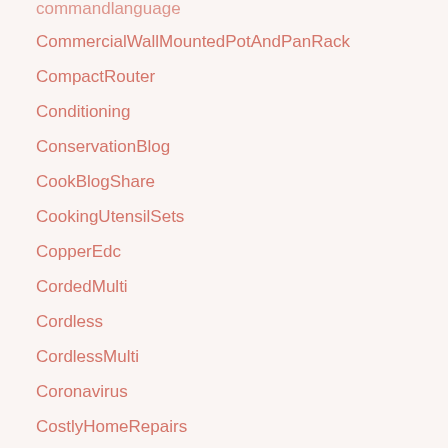commandlanguage
CommercialWallMountedPotAndPanRack
CompactRouter
Conditioning
ConservationBlog
CookBlogShare
CookingUtensilSets
CopperEdc
CordedMulti
Cordless
CordlessMulti
Coronavirus
CostlyHomeRepairs
CostsOfOwningAHome
COVID